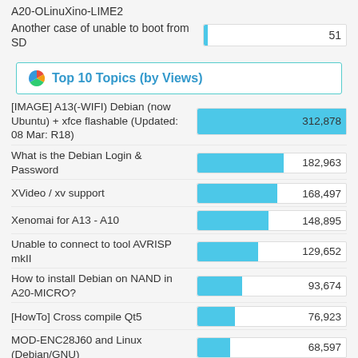A20-OLinuXino-LIME2
[Figure (bar-chart): ]
Top 10 Topics (by Views)
[Figure (bar-chart): Top 10 Topics (by Views)]